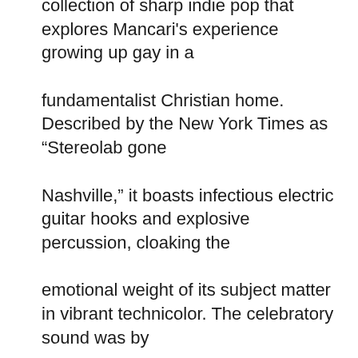collection of sharp indie pop that explores Mancari's experience growing up gay in a fundamentalist Christian home. Described by the New York Times as “Stereolab gone Nashville,” it boasts infectious electric guitar hooks and explosive percussion, cloaking the emotional weight of its subject matter in vibrant technicolor. The celebratory sound was by design – the album was meant as a paean to resilience and joy in the face of pain. Still, Mancari felt there was more to be expressed in these songs – she'd been having a recurring dream about the river, too, which felt like a symbol of unfinished business.